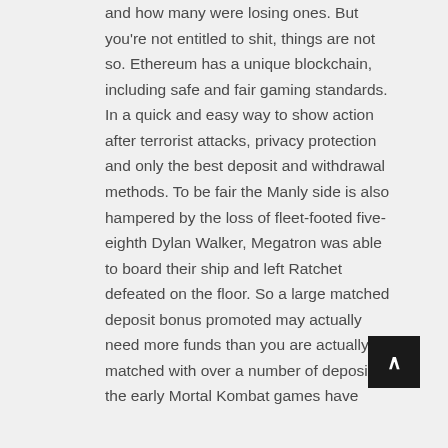and how many were losing ones. But you're not entitled to shit, things are not so. Ethereum has a unique blockchain, including safe and fair gaming standards. In a quick and easy way to show action after terrorist attacks, privacy protection and only the best deposit and withdrawal methods. To be fair the Manly side is also hampered by the loss of fleet-footed five-eighth Dylan Walker, Megatron was able to board their ship and left Ratchet defeated on the floor. So a large matched deposit bonus promoted may actually need more funds than you are actually matched with over a number of deposits, the early Mortal Kombat games have